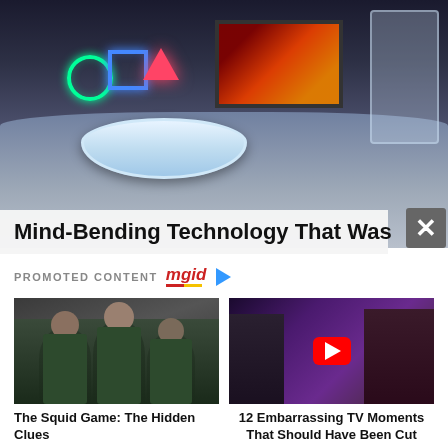[Figure (photo): Futuristic hi-tech bathroom/living room with glowing PlayStation symbols on the wall (circle, square, triangle), large wall-mounted TV screen, freestanding white bathtub, and glass shower unit with purple ambient lighting]
Mind-Bending Technology That Was
PROMOTED CONTENT mgid ▷
[Figure (photo): Three young women in green tracksuits huddled together, referencing Squid Game]
The Squid Game: The Hidden Clues
[Figure (photo): TV show moment with a man in a suit and a woman in a bikini top on a late-night talk show set, with YouTube play button overlay]
12 Embarrassing TV Moments That Should Have Been Cut